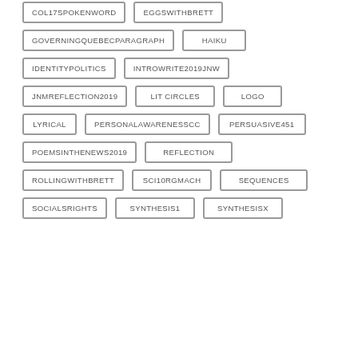COL17SPOKENWORD
EGGSWITHBRETT
GOVERNINGQUEBECPARAGRAPH
HAIKU
IDENTITYPOLITICS
INTROWRITE2019JNW
JNMREFLECTION2019
LIT CIRCLES
LOGO
LYRICAL
PERSONALAWARENESSCC
PERSUASIVE451
POEMSINTHENEWS2019
REFLECTION
ROLLINGWITHBRETT
SCI10RGMACH
SEQUENCES
SOCIALSRIGHTS
SYNTHESIS1
SYNTHESISX